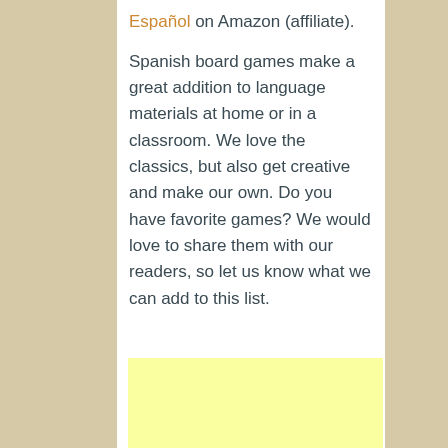Español on Amazon (affiliate).
Spanish board games make a great addition to language materials at home or in a classroom. We love the classics, but also get creative and make our own. Do you have favorite games? We would love to share them with our readers, so let us know what we can add to this list.
[Figure (other): Yellow advertisement or placeholder box]